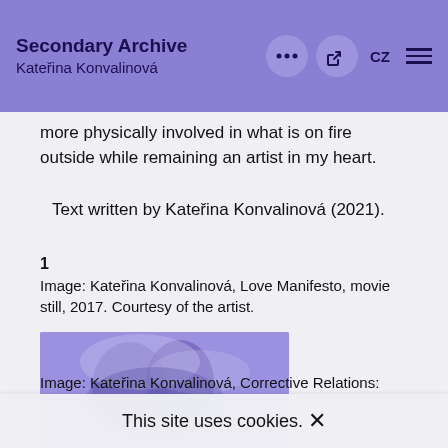Secondary Archive
Kateřina Konvalinová
more physically involved in what is on fire outside while remaining an artist in my heart.
Text written by Kateřina Konvalinová (2021).
1
Image: Kateřina Konvalinová, Love Manifesto, movie still, 2017. Courtesy of the artist.
[Figure (photo): Purple-tinted movie still showing silhouetted figures, likely a scene from Love Manifesto by Kateřina Konvalinová]
This site uses cookies. ×
Image: Kateřina Konvalinová, Corrective Relations: Red...